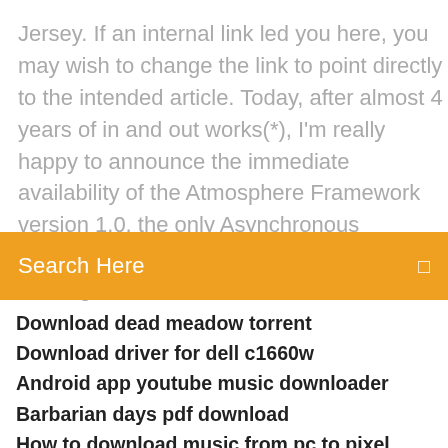Jersey. If an internal link led you here, you may wish to change the link to point directly to the intended article. Today, after almost 4 years of in and out works(*), I'm really happy to announce the immediate availability of the Atmosphere Framework version 1.0, the only Asynchronous JavaScript/Java Portable framework running on the JVM!
Search Here
Download dead meadow torrent
Download driver for dell c1660w
Android app youtube music downloader
Barbarian days pdf download
How to download music from pc to pixel
Download printer driver brother mfc-j5720dw
App to download and delete photz off facebook
Where is the vudu downloaded file
Fortnite bus in minecraft download
Youtube red download videos on pc